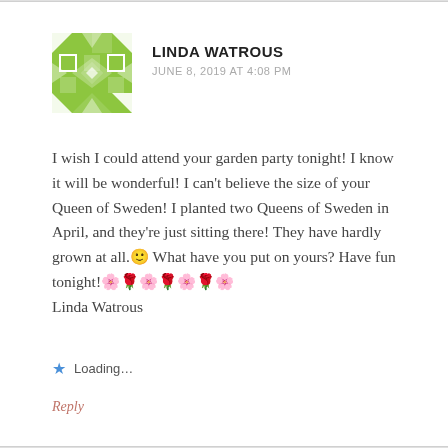[Figure (illustration): Green geometric avatar icon with diamond and triangle pattern for user Linda Watrous]
LINDA WATROUS
JUNE 8, 2019 AT 4:08 PM
I wish I could attend your garden party tonight! I know it will be wonderful! I can't believe the size of your Queen of Sweden! I planted two Queens of Sweden in April, and they're just sitting there! They have hardly grown at all.🙂 What have you put on yours? Have fun tonight!🌸🌹🌸🌹🌸🌹🌸
Linda Watrous
Loading...
Reply